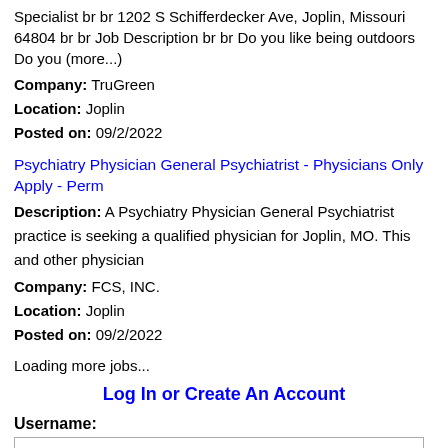Specialist br br 1202 S Schifferdecker Ave, Joplin, Missouri 64804 br br Job Description br br Do you like being outdoors Do you (more...)
Company: TruGreen
Location: Joplin
Posted on: 09/2/2022
Psychiatry Physician General Psychiatrist - Physicians Only Apply - Perm
Description: A Psychiatry Physician General Psychiatrist practice is seeking a qualified physician for Joplin, MO. This and other physician
Company: FCS, INC.
Location: Joplin
Posted on: 09/2/2022
Loading more jobs...
Log In or Create An Account
Username:
Password: